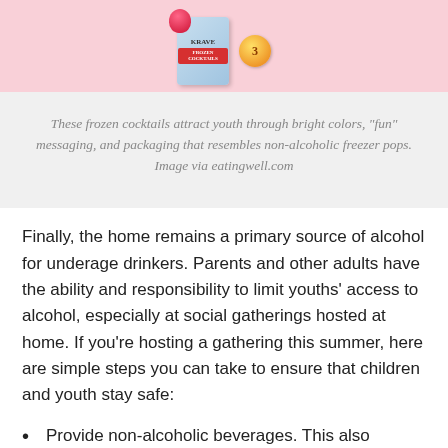[Figure (photo): Frozen cocktail product box with bright colorful packaging resembling non-alcoholic freezer pops, shown against a pink background.]
These frozen cocktails attract youth through bright colors, "fun" messaging, and packaging that resembles non-alcoholic freezer pops. Image via eatingwell.com
Finally, the home remains a primary source of alcohol for underage drinkers. Parents and other adults have the ability and responsibility to limit youths' access to alcohol, especially at social gatherings hosted at home. If you're hosting a gathering this summer, here are simple steps you can take to ensure that children and youth stay safe:
Provide non-alcoholic beverages. This also supports